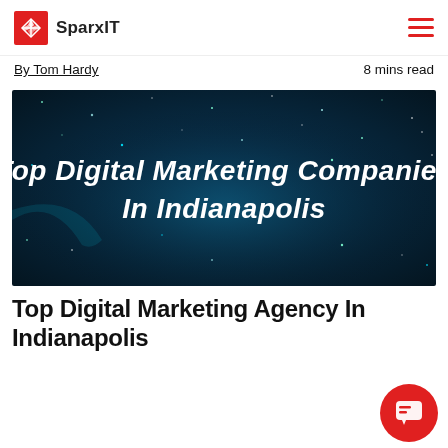SparxIT
By Tom Hardy   8 mins read
[Figure (photo): Dark blue starfield/space-themed background with text overlay reading 'Top Digital Marketing Companies In Indianapolis' in white bold italic font]
Top Digital Marketing Agency In Indianapolis